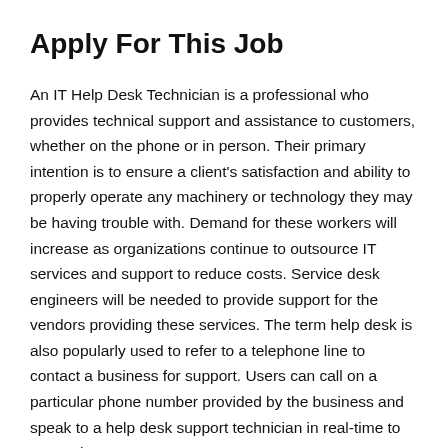Apply For This Job
An IT Help Desk Technician is a professional who provides technical support and assistance to customers, whether on the phone or in person. Their primary intention is to ensure a client's satisfaction and ability to properly operate any machinery or technology they may be having trouble with. Demand for these workers will increase as organizations continue to outsource IT services and support to reduce costs. Service desk engineers will be needed to provide support for the vendors providing these services. The term help desk is also popularly used to refer to a telephone line to contact a business for support. Users can call on a particular phone number provided by the business and speak to a help desk support technician in real-time to get assistance.
Implementation With the experience of more than 150